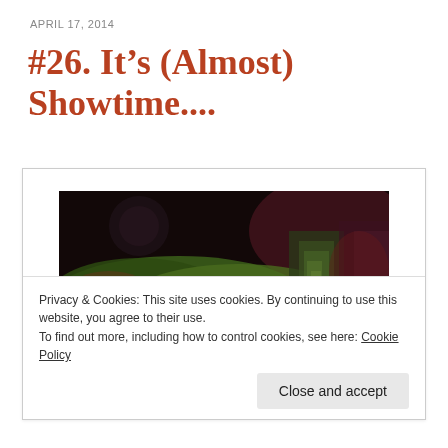APRIL 17, 2014
#26. It’s (Almost) Showtime....
[Figure (photo): An abstract or expressionist painting depicting a landscape with dark tones, green foliage, blue water at the bottom, and a tall vertical form resembling a cliff or figure on the right side.]
Privacy & Cookies: This site uses cookies. By continuing to use this website, you agree to their use.
To find out more, including how to control cookies, see here: Cookie Policy
Close and accept